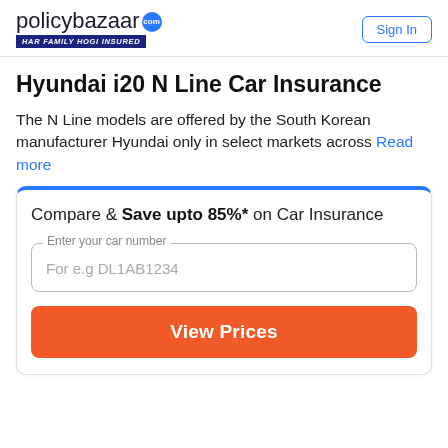[Figure (logo): Policybazaar logo with tagline 'HAR FAMILY HOGI INSURED']
Hyundai i20 N Line Car Insurance
The N Line models are offered by the South Korean manufacturer Hyundai only in select markets across Read more
Compare & Save upto 85%* on Car Insurance
Enter your car number
For e.g DL1AB1234
View Prices